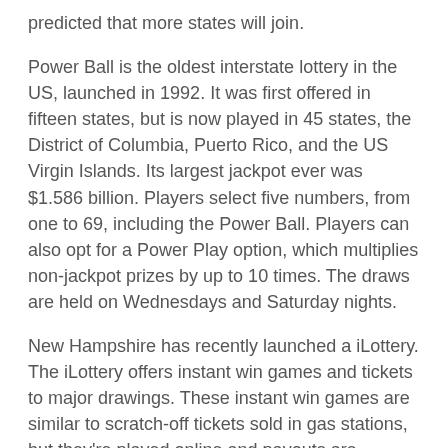predicted that more states will join.
Power Ball is the oldest interstate lottery in the US, launched in 1992. It was first offered in fifteen states, but is now played in 45 states, the District of Columbia, Puerto Rico, and the US Virgin Islands. Its largest jackpot ever was $1.586 billion. Players select five numbers, from one to 69, including the Power Ball. Players can also opt for a Power Play option, which multiplies non-jackpot prizes by up to 10 times. The draws are held on Wednesdays and Saturday nights.
New Hampshire has recently launched a iLottery. The iLottery offers instant win games and tickets to major drawings. These instant win games are similar to scratch-off tickets sold in gas stations, but they're played online and payouts are instantly deposited into players' online lottery accounts. Powerball and Mega Millions tickets can be purchased individually or in batches of 100. Powerball and Mega Millions tickets can be bought for up to 104 consecutive drawings.